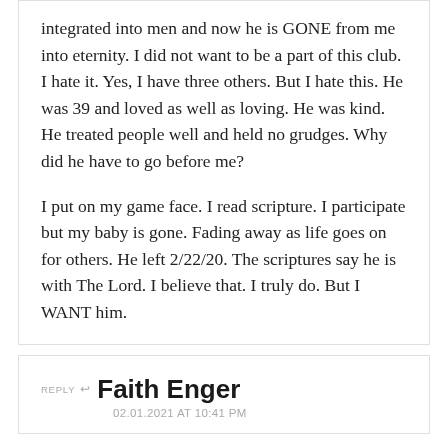integrated into men and now he is GONE from me into eternity. I did not want to be a part of this club. I hate it. Yes, I have three others. But I hate this. He was 39 and loved as well as loving. He was kind. He treated people well and held no grudges. Why did he have to go before me?

I put on my game face. I read scripture. I participate but my baby is gone. Fading away as life goes on for others. He left 2/22/20. The scriptures say he is with The Lord. I believe that. I truly do. But I WANT him.
REPLY ↩ Faith Enger
02.01.2021 AT 10:41 PM